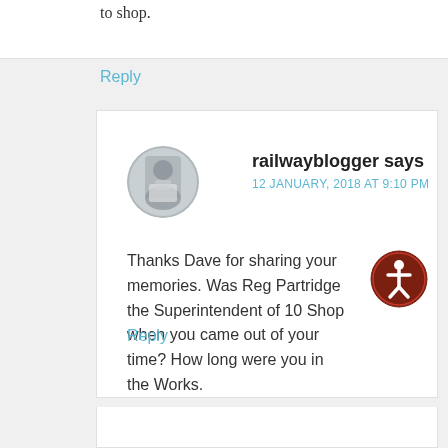10 shop.
Reply
railwayblogger says
12 JANUARY, 2018 AT 9:10 PM
Thanks Dave for sharing your memories. Was Reg Partridge the Superintendent of 10 Shop when you came out of your time? How long were you in the Works.
Reply